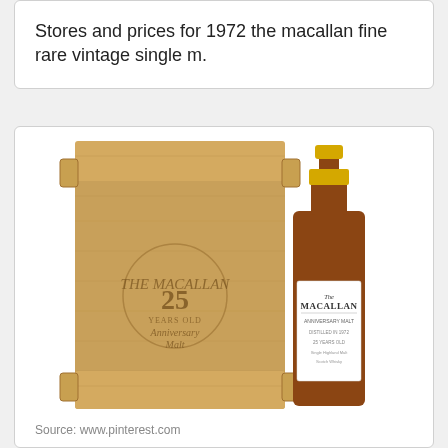Stores and prices for 1972 the macallan fine rare vintage single m.
[Figure (photo): Photo of a Macallan 25 Years Old Anniversary Malt whisky bottle next to its wooden box/case. The wooden crate has 'THE MACALLAN 25 YEARS OLD Anniversary Malt' engraved on it. The bottle has a white label reading MACALLAN with a gold foil top.]
Source: www.pinterest.com